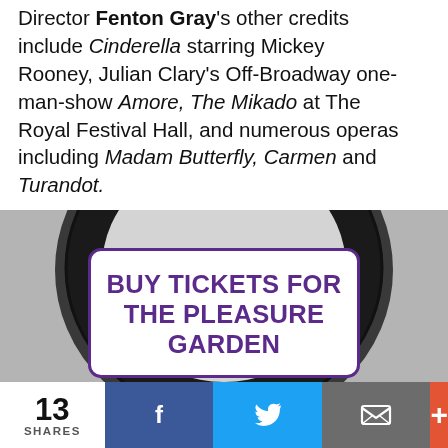Director Fenton Gray's other credits include Cinderella starring Mickey Rooney, Julian Clary's Off-Broadway one-man-show Amore, The Mikado at The Royal Festival Hall, and numerous operas including Madam Butterfly, Carmen and Turandot.
[Figure (photo): A black circular ring/frame shape (top portion visible) with a ticket purchase call-to-action box overlaid on top.]
BUY TICKETS FOR THE PLEASURE GARDEN
13 SHARES | Facebook | Twitter | Email | More